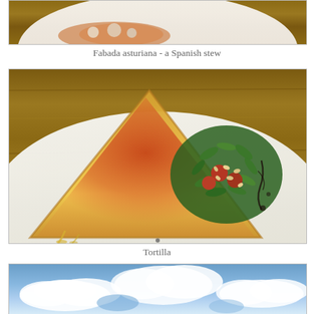[Figure (photo): Partial top view of a plate of Fabada asturiana (Spanish stew) on a wooden table, cropped at the top of the page]
Fabada asturiana - a Spanish stew
[Figure (photo): A wedge of tortilla española (Spanish omelette) served on a white plate with arugula salad, cherry tomatoes, pine nuts, and balsamic drizzle]
Tortilla
[Figure (photo): Partial bottom view of a cloudy sky with blue sky and white clouds, cropped at the bottom of the page]